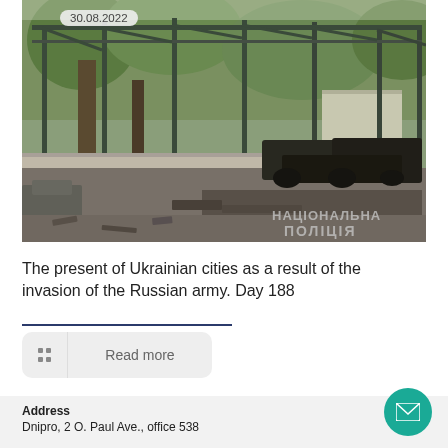[Figure (photo): Photo of destroyed vehicles under a metal-framed structure, burned-out cars visible on ash-covered ground with trees in background. Dated 30.08.2022. Watermark: НАЦІОНАЛЬНА ПОЛІЦІЯ]
The present of Ukrainian cities as a result of the invasion of the Russian army. Day 188
Read more
Address
Dnipro, 2 O. Paul Ave., office 538